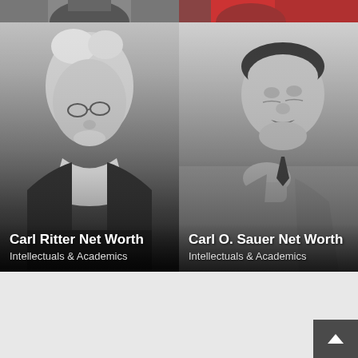[Figure (photo): Top strip showing partial photo of a person (left), black and white]
[Figure (photo): Top strip showing partial photo of a person in red clothing (right)]
[Figure (photo): Black and white portrait photo of Carl Ritter, elderly man with glasses and white cravat, with overlay text 'Carl Ritter Net Worth' and 'Intellectuals & Academics']
[Figure (photo): Black and white photo of Carl O. Sauer, middle-aged man with mustache in contemplative pose, with overlay text 'Carl O. Sauer Net Worth' and 'Intellectuals & Academics']